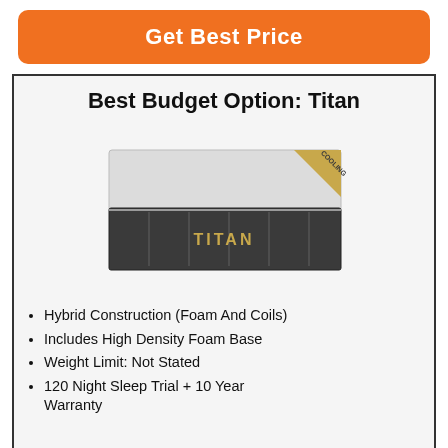Get Best Price
Best Budget Option: Titan
[Figure (photo): Titan mattress product photo showing a dark charcoal/black hybrid mattress with a light grey top surface. The mattress has a golden 'TITAN' label on the side and a gold 'COOLING' badge in the top right corner.]
Hybrid Construction (Foam And Coils)
Includes High Density Foam Base
Weight Limit: Not Stated
120 Night Sleep Trial + 10 Year Warranty